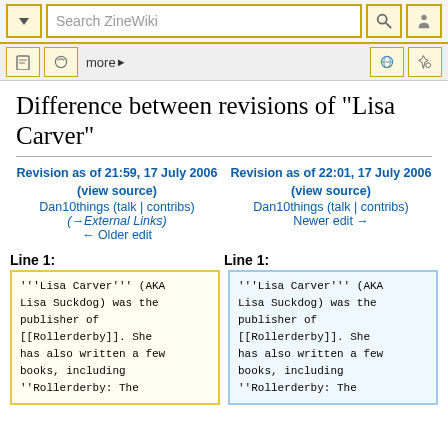Search ZineWiki navigation bar
Difference between revisions of "Lisa Carver"
Revision as of 21:59, 17 July 2006 (view source)
Dan10things (talk | contribs)
(→External Links)
← Older edit
Revision as of 22:01, 17 July 2006 (view source)
Dan10things (talk | contribs)
Newer edit →
Line 1:
Line 1:
'''Lisa Carver''' (AKA Lisa Suckdog) was the publisher of [[Rollerderby]]. She has also written a few books, including ''Rollerderby: The
'''Lisa Carver''' (AKA Lisa Suckdog) was the publisher of [[Rollerderby]]. She has also written a few books, including ''Rollerderby: The